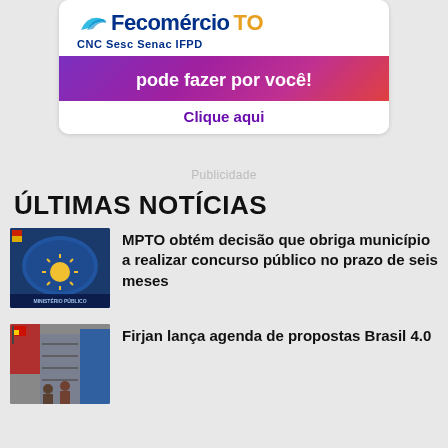[Figure (illustration): Fecomércio TO advertisement banner with logo, tagline 'pode fazer por você!' and 'Clique aqui' call to action on purple gradient background]
Publicidade
ÚLTIMAS NOTÍCIAS
[Figure (photo): Photo of MPTO (Ministério Público do Tocantins) building dome with yellow sun symbol and flag]
MPTO obtém decisão que obriga município a realizar concurso público no prazo de seis meses
[Figure (photo): Photo of factory workers and machinery]
Firjan lança agenda de propostas Brasil 4.0